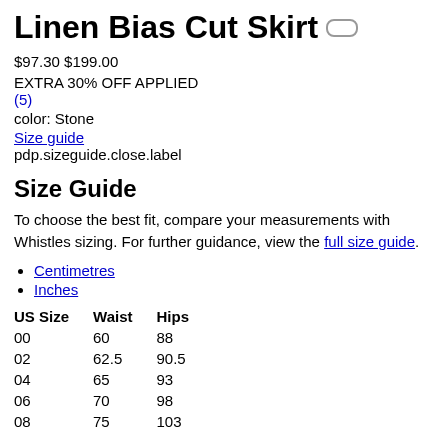Linen Bias Cut Skirt
$97.30 $199.00
EXTRA 30% OFF APPLIED
(5)
color: Stone
Size guide
pdp.sizeguide.close.label
Size Guide
To choose the best fit, compare your measurements with Whistles sizing. For further guidance, view the full size guide.
Centimetres
Inches
| US Size | Waist | Hips |
| --- | --- | --- |
| 00 | 60 | 88 |
| 02 | 62.5 | 90.5 |
| 04 | 65 | 93 |
| 06 | 70 | 98 |
| 08 | 75 | 103 |